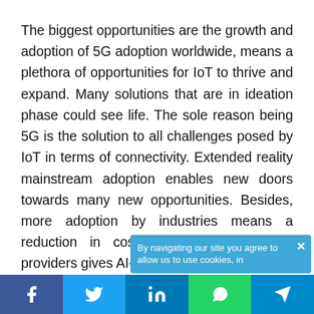The biggest opportunities are the growth and adoption of 5G adoption worldwide, means a plethora of opportunities for IoT to thrive and expand. Many solutions that are in ideation phase could see life. The sole reason being 5G is the solution to all challenges posed by IoT in terms of connectivity. Extended reality mainstream adoption enables new doors towards many new opportunities. Besides, more adoption by industries means a reduction in cost. As more and more providers gives AI-as-a-service, we will see a
By navigating our site you agree to allow us to use cookies, in